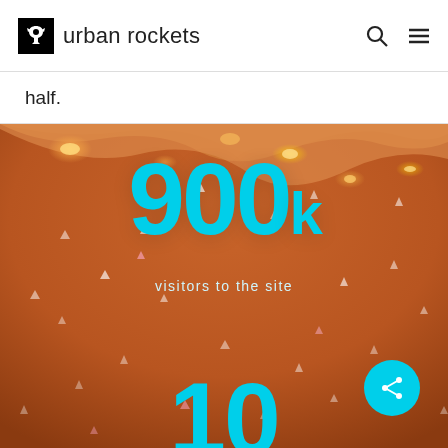urban rockets
half.
[Figure (infographic): Orange/brown abstract glowing background with sparkle particles. Large cyan '900k' stat with label 'visitors to the site'. Partial '10' visible at bottom. Cyan circular share button at bottom right.]
900k
visitors to the site
10